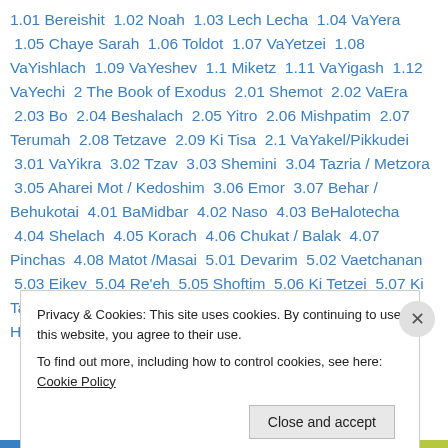1.01 Bereishit  1.02 Noah  1.03 Lech Lecha  1.04 VaYera  1.05 Chaye Sarah  1.06 Toldot  1.07 VaYetzei  1.08 VaYishlach  1.09 VaYeshev  1.1 Miketz  1.11 VaYigash  1.12 VaYechi  2 The Book of Exodus  2.01 Shemot  2.02 VaEra  2.03 Bo  2.04 Beshalach  2.05 Yitro  2.06 Mishpatim  2.07 Terumah  2.08 Tetzave  2.09 Ki Tisa  2.1 VaYakel/Pikkudei  3.01 VaYikra  3.02 Tzav  3.03 Shemini  3.04 Tazria / Metzora  3.05 Aharei Mot / Kedoshim  3.06 Emor  3.07 Behar / Behukotai  4.01 BaMidbar  4.02 Naso  4.03 BeHalotecha  4.04 Shelach  4.05 Korach  4.06 Chukat / Balak  4.07 Pinchas  4.08 Matot /Masai  5.01 Devarim  5.02 Vaetchanan  5.03 Eikev  5.04 Re'eh  5.05 Shoftim  5.06 Ki Tetzei  5.07 Ki Tavo  5.08 Nitzavim / VaYelech  5.09 Ha'azinu  5.1 Zot HaBracha  8.1.1 Rosh HaShanah
Privacy & Cookies: This site uses cookies. By continuing to use this website, you agree to their use.
To find out more, including how to control cookies, see here: Cookie Policy
Close and accept